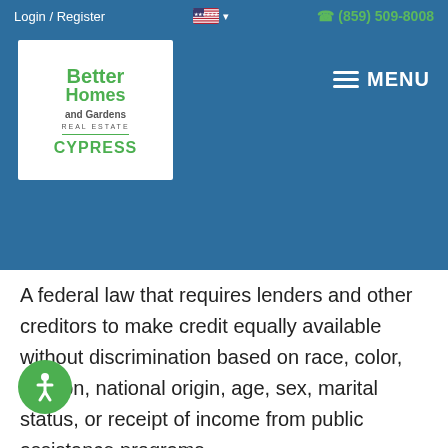Login / Register   (859) 509-8008
[Figure (logo): Better Homes and Gardens Real Estate Cypress logo]
A federal law that requires lenders and other creditors to make credit equally available without discrimination based on race, color, religion, national origin, age, sex, marital status, or receipt of income from public assistance programs.
equity
A homeowner's financial interest in a property. Equity is the difference between the fair market value of the property and the amount still owed on its mortgage.
escrow